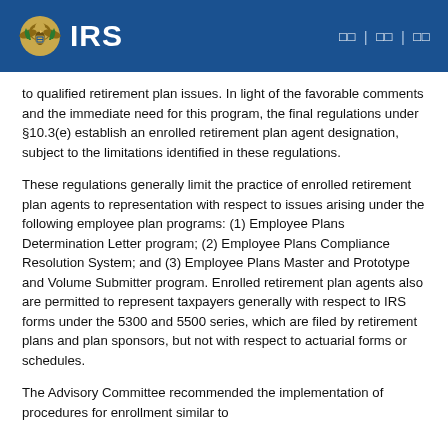IRS
to qualified retirement plan issues. In light of the favorable comments and the immediate need for this program, the final regulations under §10.3(e) establish an enrolled retirement plan agent designation, subject to the limitations identified in these regulations.
These regulations generally limit the practice of enrolled retirement plan agents to representation with respect to issues arising under the following employee plan programs: (1) Employee Plans Determination Letter program; (2) Employee Plans Compliance Resolution System; and (3) Employee Plans Master and Prototype and Volume Submitter program. Enrolled retirement plan agents also are permitted to represent taxpayers generally with respect to IRS forms under the 5300 and 5500 series, which are filed by retirement plans and plan sponsors, but not with respect to actuarial forms or schedules.
The Advisory Committee recommended the implementation of procedures for enrollment similar to